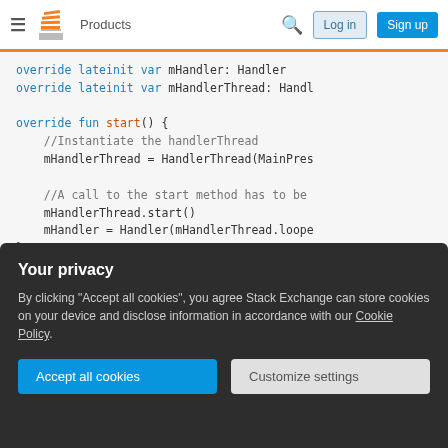≡  [Stack Overflow logo]  Products  🔍  Log in  Sign up
[Figure (screenshot): Code block showing Kotlin code with override lateinit var mHandler: Handler, override lateinit var mHandlerThread: HandlerThread, override fun start() { //Instantiate the handlerThread, mHandlerThread = HandlerThread(MainPres..., //A call to the start method has to be..., mHandlerThread.start(), mHandler = Handler(mHandlerThread.loope..., }]
And wherever you want to call something in the
Your privacy
By clicking "Accept all cookies", you agree Stack Exchange can store cookies on your device and disclose information in accordance with our Cookie Policy.
Accept all cookies   Customize settings